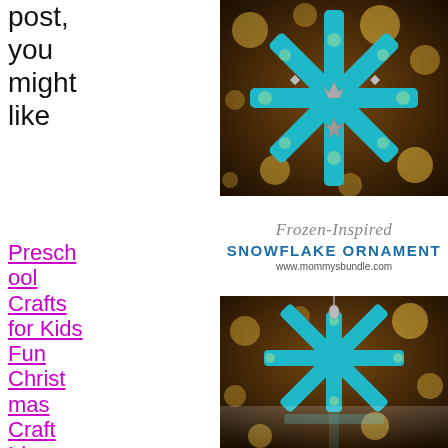post, you might like
Preschool Crafts for Kids
Fun Christmas Craft Ideas for Kids
[Figure (photo): Teal/blue popsicle stick snowflake ornament decorated with green beads and silver charms on a dark bokeh background with warm lights]
Frozen-Inspired Snowflake Ornament
www.mommysbundle.com
[Figure (photo): Teal/blue popsicle stick snowflake ornament hanging, with bokeh background and a reflection below]